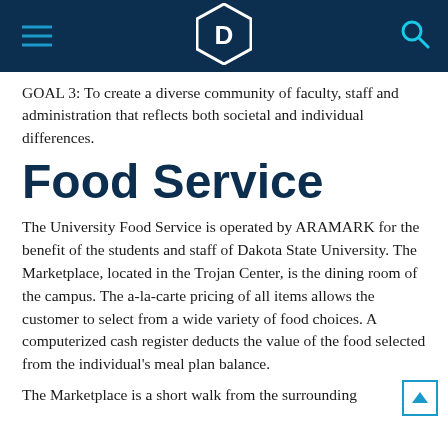Dakota State University navigation header with logo
GOAL 3: To create a diverse community of faculty, staff and administration that reflects both societal and individual differences.
Food Service
The University Food Service is operated by ARAMARK for the benefit of the students and staff of Dakota State University. The Marketplace, located in the Trojan Center, is the dining room of the campus. The a-la-carte pricing of all items allows the customer to select from a wide variety of food choices. A computerized cash register deducts the value of the food selected from the individual's meal plan balance.
The Marketplace is a short walk from the surrounding